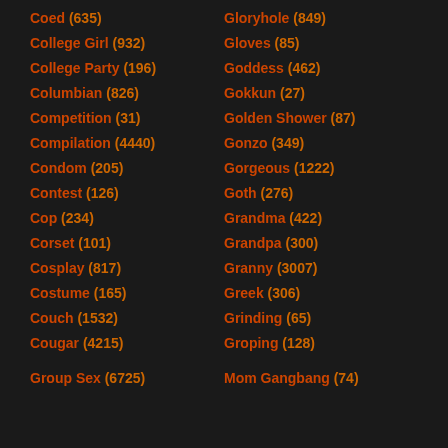Coed (635)
Gloryhole (849)
College Girl (932)
Gloves (85)
College Party (196)
Goddess (462)
Columbian (826)
Gokkun (27)
Competition (31)
Golden Shower (87)
Compilation (4440)
Gonzo (349)
Condom (205)
Gorgeous (1222)
Contest (126)
Goth (276)
Cop (234)
Grandma (422)
Corset (101)
Grandpa (300)
Cosplay (817)
Granny (3007)
Costume (165)
Greek (306)
Couch (1532)
Grinding (65)
Cougar (4215)
Groping (128)
Group Sex (6725)
Mom Gangbang (74)